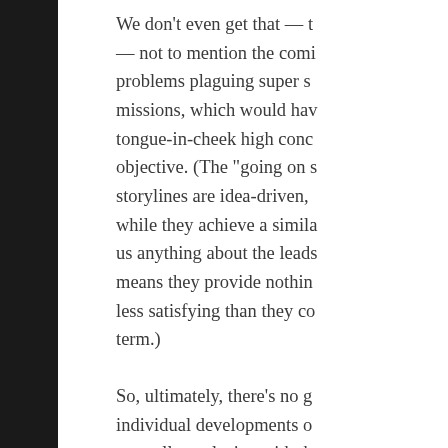We don't even get that — — not to mention the coming problems plaguing super s missions, which would hav tongue-in-cheek high conc objective. (The "going on s storylines are idea-driven, while they achieve a simila us anything about the leads means they provide nothin less satisfying than they co term.)
So, ultimately, there's no g individual developments o mutually exclusive with th ideas are not in opposition would have aided the serie